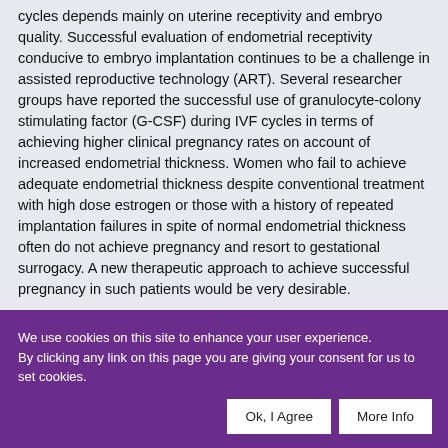cycles depends mainly on uterine receptivity and embryo quality. Successful evaluation of endometrial receptivity conducive to embryo implantation continues to be a challenge in assisted reproductive technology (ART). Several researcher groups have reported the successful use of granulocyte-colony stimulating factor (G-CSF) during IVF cycles in terms of achieving higher clinical pregnancy rates on account of increased endometrial thickness. Women who fail to achieve adequate endometrial thickness despite conventional treatment with high dose estrogen or those with a history of repeated implantation failures in spite of normal endometrial thickness often do not achieve pregnancy and resort to gestational surrogacy. A new therapeutic approach to achieve successful pregnancy in such patients would be very desirable.
We use cookies on this site to enhance your user experience. By clicking any link on this page you are giving your consent for us to set cookies.